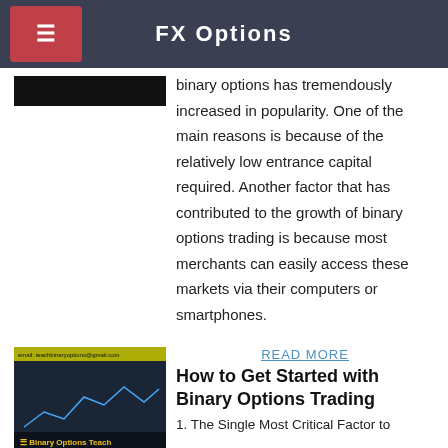FX Options
[Figure (screenshot): Dark screenshot thumbnail of a trading chart interface]
binary options has tremendously increased in popularity. One of the main reasons is because of the relatively low entrance capital required. Another factor that has contributed to the growth of binary options trading is because most merchants can easily access these markets via their computers or smartphones.
[Figure (screenshot): Screenshot of Binary Options Teacher trading platform with chart and yellow banner at top]
READ MORE
How to Get Started with Binary Options Trading
1. The Single Most Critical Factor to Binary Options Trading Success 2. What are Binary Options 3. The Flow of Decisions in a Binary Options Trade 4. Advantages and Disadvantages of Binary Options Trading 5. Binary Trading Risk Management 6. What You Need to Succeed in Binary Options 7. How Much Money You Need to Start Trading 8.